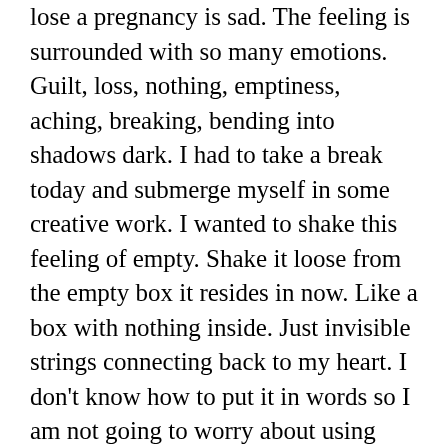lose a pregnancy is sad.  The feeling is surrounded with so many emotions.  Guilt, loss, nothing, emptiness, aching, breaking, bending into shadows dark.  I had to take a break today and submerge myself in some creative work.  I wanted to shake this feeling of empty.  Shake it loose from the empty box it resides in now.  Like a box with nothing inside.  Just invisible strings connecting back to my heart.  I don't know how to put it in words so I am not going to worry about using dazzling adverbs or catchy phrases, but they may just happen to come out that way.  I just want to write a post about it.
There are so many women out there feeling this same feeling, they want to know...